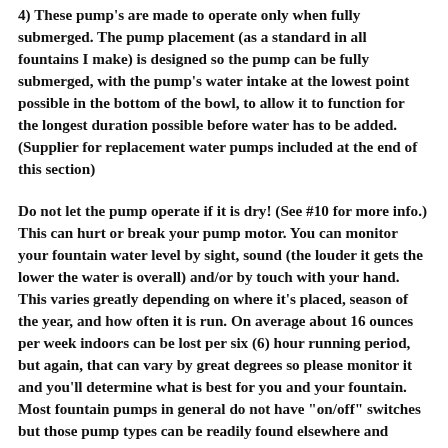4) These pump's are made to operate only when fully submerged. The pump placement (as a standard in all fountains I make) is designed so the pump can be fully submerged, with the pump's water intake at the lowest point possible in the bottom of the bowl, to allow it to function for the longest duration possible before water has to be added. (Supplier for replacement water pumps included at the end of this section)
Do not let the pump operate if it is dry! (See #10 for more info.) This can hurt or break your pump motor. You can monitor your fountain water level by sight, sound (the louder it gets the lower the water is overall) and/or by touch with your hand. This varies greatly depending on where it's placed, season of the year, and how often it is run. On average about 16 ounces per week indoors can be lost per six (6) hour running period, but again, that can vary by great degrees so please monitor it and you'll determine what is best for you and your fountain.
Most fountain pumps in general do not have "on/off" switches but those pump types can be readily found elsewhere and adapted to these.